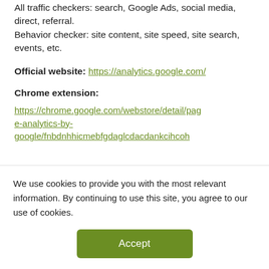All traffic checkers: search, Google Ads, social media, direct, referral.
Behavior checker: site content, site speed, site search, events, etc.
Official website: https://analytics.google.com/
Chrome extension:
https://chrome.google.com/webstore/detail/page-analytics-by-google/fnbdnhhicmebfgdaglcdacdankcihcoh
We use cookies to provide you with the most relevant information. By continuing to use this site, you agree to our use of cookies.